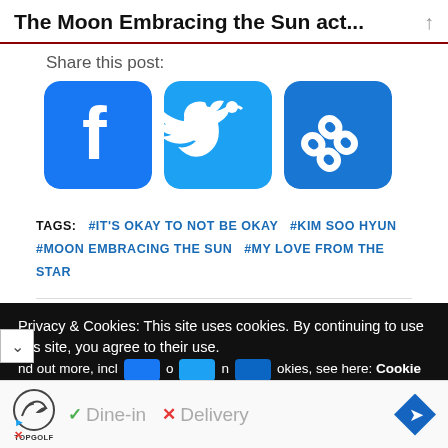The Moon Embracing the Sun act...
Share this post:
[Figure (illustration): Three social sharing buttons: Facebook (blue with 'f' logo), Twitter (blue with bird logo), and a chain-link/copy link button (darker blue with chain icon)]
TAGS:  #IT'S OKAY TO NOT BE OKAY  #KIM SOO HYUN  #MOON EMBRACING THE SUN  #MY LOVE FROM THE STAR
Privacy & Cookies: This site uses cookies. By continuing to use this site, you agree to their use. nd out more, incl...okies, see here: Cookie